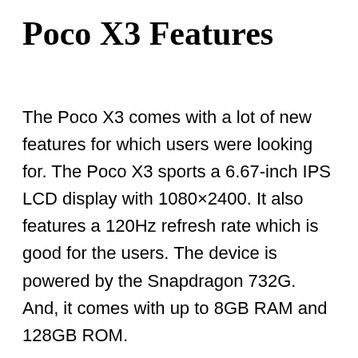Poco X3 Features
The Poco X3 comes with a lot of new features for which users were looking for. The Poco X3 sports a 6.67-inch IPS LCD display with 1080×2400. It also features a 120Hz refresh rate which is good for the users. The device is powered by the Snapdragon 732G. And, it comes with up to 8GB RAM and 128GB ROM.